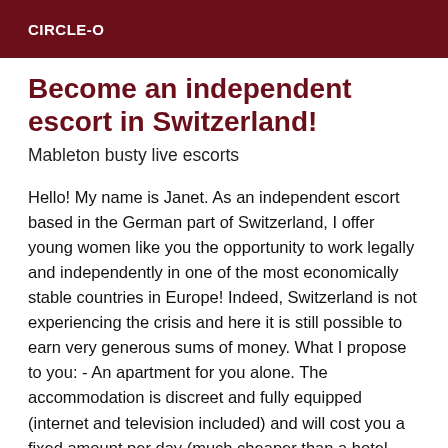CIRCLE-O
Become an independent escort in Switzerland!
Mableton busty live escorts
Hello! My name is Janet. As an independent escort based in the German part of Switzerland, I offer young women like you the opportunity to work legally and independently in one of the most economically stable countries in Europe! Indeed, Switzerland is not experiencing the crisis and here it is still possible to earn very generous sums of money. What I propose to you: - An apartment for you alone. The accommodation is discreet and fully equipped (internet and television included) and will cost you a fixed amount per day (much cheaper than a hotel room and above all much more comfortable) and all the rest of your earnings will be exclusively for you. - Free publicity for you in order to give you a good visibility. It is quite expensive in